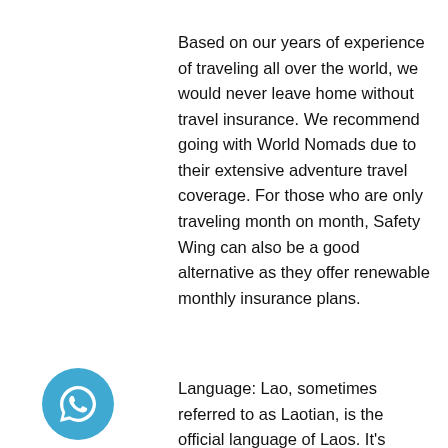Based on our years of experience of traveling all over the world, we would never leave home without travel insurance. We recommend going with World Nomads due to their extensive adventure travel coverage. For those who are only traveling month on month, Safety Wing can also be a good alternative as they offer renewable monthly insurance plans.
Language: Lao, sometimes referred to as Laotian, is the official language of Laos. It's
[Figure (illustration): Blue circular button with WhatsApp icon (speech bubble with phone)]
[Figure (illustration): Blue circular button with phone/call icon]